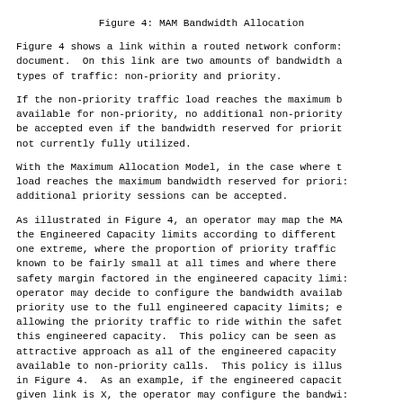Figure 4: MAM Bandwidth Allocation
Figure 4 shows a link within a routed network conforming to this document.  On this link are two amounts of bandwidth allocated to two types of traffic: non-priority and priority.
If the non-priority traffic load reaches the maximum bandwidth available for non-priority, no additional non-priority traffic can be accepted even if the bandwidth reserved for priority traffic is not currently fully utilized.
With the Maximum Allocation Model, in the case where the priority load reaches the maximum bandwidth reserved for priority, no additional priority sessions can be accepted.
As illustrated in Figure 4, an operator may map the MAM CT onto the Engineered Capacity limits according to different policies.  At one extreme, where the proportion of priority traffic on a link is known to be fairly small at all times and where there is already a safety margin factored in the engineered capacity limits, the operator may decide to configure the bandwidth available for non-priority use to the full engineered capacity limits; effectively allowing the priority traffic to ride within the safety margin of this engineered capacity.  This policy can be seen as a particularly attractive approach as all of the engineered capacity can then be available to non-priority calls.  This policy is illustrated by Case 1 in Figure 4.  As an example, if the engineered capacity for a given link is X, the operator may configure the bandwidth available to non-priority traffic to X, and the bandwidth available